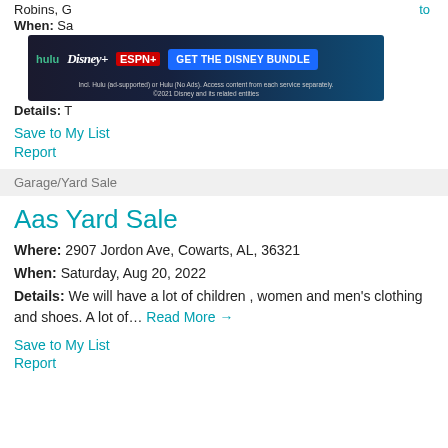Robins, G...
When: Sa...
Details: T...
[Figure (screenshot): Disney Bundle advertisement banner with Hulu, Disney+, ESPN+ logos and 'GET THE DISNEY BUNDLE' button on dark blue background]
Save to My List
Report
Garage/Yard Sale
Aas Yard Sale
Where: 2907 Jordon Ave, Cowarts, AL, 36321
When: Saturday, Aug 20, 2022
Details: We will have a lot of children , women and men's clothing and shoes. A lot of… Read More →
Save to My List
Report